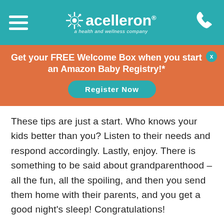[Figure (logo): Acelleron logo with sun icon and tagline 'a health and wellness company' on teal header bar with hamburger menu and phone icon]
Get your FREE Welcome Box when you start an Amazon Baby Registry!*
Register Now
These tips are just a start. Who knows your kids better than you? Listen to their needs and respond accordingly. Lastly, enjoy. There is something to be said about grandparenthood – all the fun, all the spoiling, and then you send them home with their parents, and you get a good night's sleep! Congratulations!